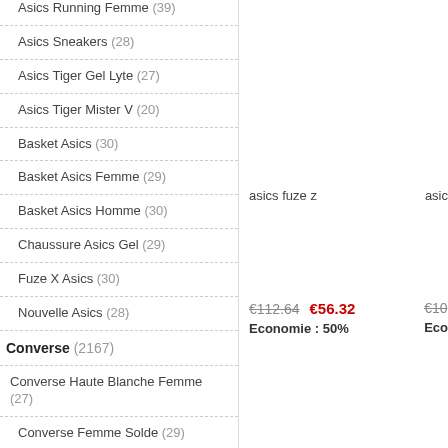Asics Sneakers (28)
Asics Tiger Gel Lyte (27)
Asics Tiger Mister V (20)
Basket Asics (30)
Basket Asics Femme (29)
Basket Asics Homme (30)
Chaussure Asics Gel (29)
Fuze X Asics (30)
Nouvelle Asics (28)
Converse (2167)
Converse Haute Blanche Femme (27)
Converse Femme Solde (29)
Converse All Star Noir (29)
Converse Orange (30)
Converse Blanche Homme (18)
asics fuze z
€112.64  €56.32  Economie : 50%
€10...  Eco...